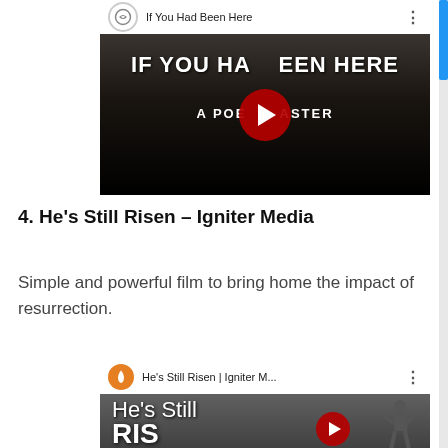[Figure (screenshot): YouTube video thumbnail for 'If You Had Been Here' – shows a man in a suit with bold white text 'IF YOU HAD BEEN HERE' and subtitle 'A POEM FOR EASTER', with a YouTube play button overlay]
4. He's Still Risen – Igniter Media
Simple and powerful film to bring home the impact of resurrection.
[Figure (screenshot): YouTube video thumbnail for 'He's Still Risen | Igniter M...' – shows text 'He's Still' and partially visible 'RIS' with a person silhouette, Igniter Media orange flame logo, and YouTube play button overlay]